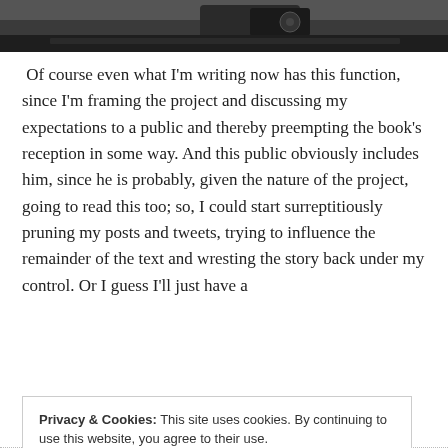[Figure (photo): Dark photograph of what appears to be a car dashboard or vehicle interior, partially cropped at the top of the page]
Of course even what I'm writing now has this function, since I'm framing the project and discussing my expectations to a public and thereby preempting the book's reception in some way. And this public obviously includes him, since he is probably, given the nature of the project, going to read this too; so, I could start surreptitiously pruning my posts and tweets, trying to influence the remainder of the text and wresting the story back under my control. Or I guess I'll just have a
Privacy & Cookies: This site uses cookies. By continuing to use this website, you agree to their use.
To find out more, including how to control cookies, see here:
Cookie Policy
Close and accept